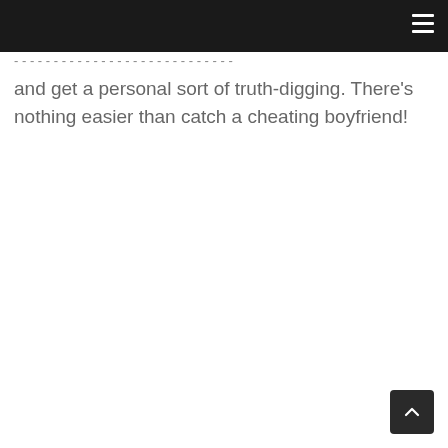☰
and get a personal sort of truth-digging. There's nothing easier than catch a cheating boyfriend!